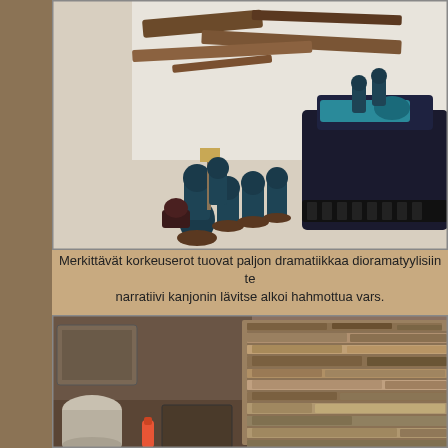[Figure (photo): Warhammer 40K miniatures (Space Marines) in dark teal/black armor arranged on a white terrain board with brown rock formations and a large black and teal Rhino tank/transport vehicle. Workshop setting.]
Merkittävät korkeuserot tuovat paljon dramatiikkaa dioramatyylisiin te narratiivi kanjonin lävitse alkoi hahmottua vars.
[Figure (photo): Workshop scene showing a large layered rock terrain piece made from stacked slate-like stones in brown/tan tones, with painting supplies and buckets visible in the background.]